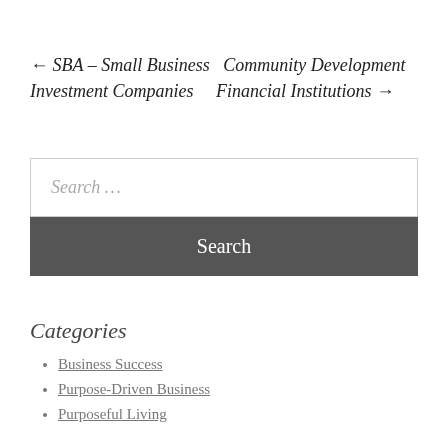← SBA – Small Business Investment Companies   Community Development Financial Institutions →
Search ...
Search
Categories
Business Success
Purpose‑Driven Business
Purposeful Living